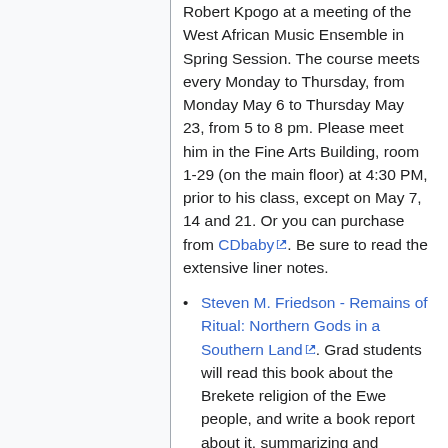Robert Kpogo at a meeting of the West African Music Ensemble in Spring Session. The course meets every Monday to Thursday, from Monday May 6 to Thursday May 23, from 5 to 8 pm. Please meet him in the Fine Arts Building, room 1-29 (on the main floor) at 4:30 PM, prior to his class, except on May 7, 14 and 21. Or you can purchase from CDbaby. Be sure to read the extensive liner notes.
Steven M. Friedson - Remains of Ritual: Northern Gods in a Southern Land. Grad students will read this book about the Brekete religion of the Ewe people, and write a book report about it, summarizing and critiquing its logic, with reference to your own fieldwork in the Ewe area.